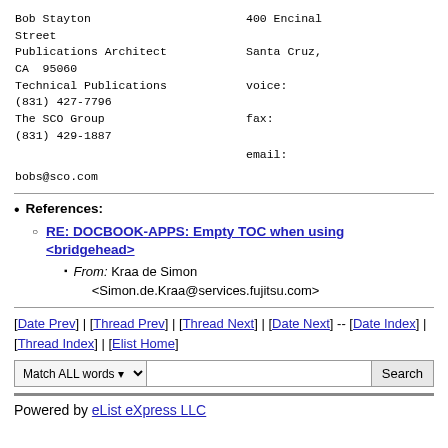Bob Stayton
Street
Publications Architect
Santa Cruz,
CA  95060
Technical Publications
voice:
(831) 427-7796
The SCO Group
fax:
(831) 429-1887
email:

bobs@sco.com
400 Encinal
References: RE: DOCBOOK-APPS: Empty TOC when using <bridgehead> — From: Kraa de Simon <Simon.de.Kraa@services.fujitsu.com>
[Date Prev] | [Thread Prev] | [Thread Next] | [Date Next] -- [Date Index] | [Thread Index] | [Elist Home]
Match ALL words Search
Powered by eList eXpress LLC